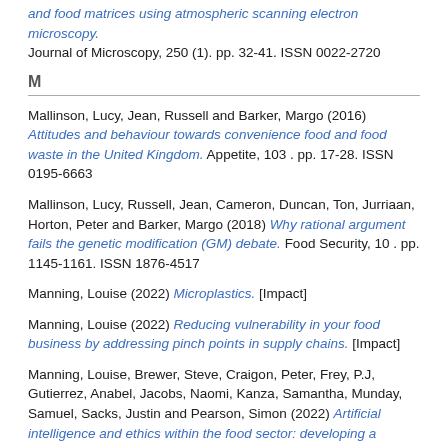and food matrices using atmospheric scanning electron microscopy. Journal of Microscopy, 250 (1). pp. 32-41. ISSN 0022-2720
M
Mallinson, Lucy, Jean, Russell and Barker, Margo (2016) Attitudes and behaviour towards convenience food and food waste in the United Kingdom. Appetite, 103 . pp. 17-28. ISSN 0195-6663
Mallinson, Lucy, Russell, Jean, Cameron, Duncan, Ton, Jurriaan, Horton, Peter and Barker, Margo (2018) Why rational argument fails the genetic modification (GM) debate. Food Security, 10 . pp. 1145-1161. ISSN 1876-4517
Manning, Louise (2022) Microplastics. [Impact]
Manning, Louise (2022) Reducing vulnerability in your food business by addressing pinch points in supply chains. [Impact]
Manning, Louise, Brewer, Steve, Craigon, Peter, Frey, P.J, Gutierrez, Anabel, Jacobs, Naomi, Kanza, Samantha, Munday, Samuel, Sacks, Justin and Pearson, Simon (2022) Artificial intelligence and ethics within the food sector: developing a common language for technology